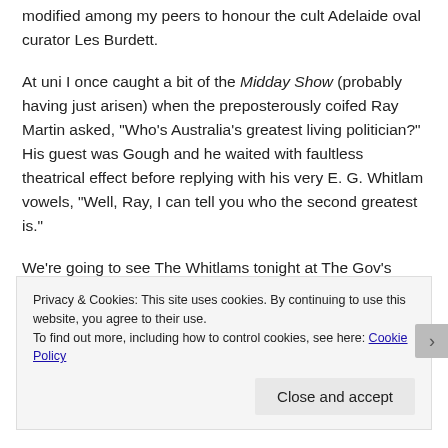modified among my peers to honour the cult Adelaide oval curator Les Burdett.
At uni I once caught a bit of the Midday Show (probably having just arisen) when the preposterously coifed Ray Martin asked, “Who’s Australia’s greatest living politician?” His guest was Gough and he waited with faultless theatrical effect before replying with his very E. G. Whitlam vowels, “Well, Ray, I can tell you who the second greatest is.”
We’re going to see The Whitlams tonight at The Gov’s early show. They’re on stage at 6.30 so we’ll be home just after sundown for hot chocolate and a (shared) digestive biscuit. As we slide into the weekend I’ll be humming.
Privacy & Cookies: This site uses cookies. By continuing to use this website, you agree to their use.
To find out more, including how to control cookies, see here: Cookie Policy
Close and accept